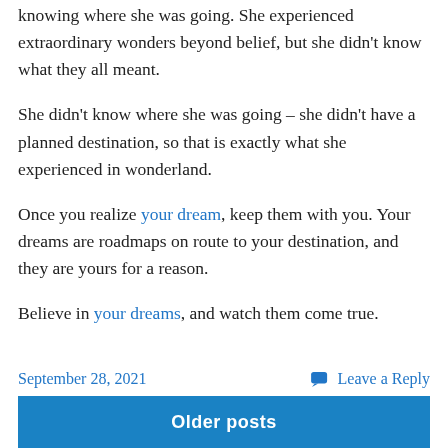Alice wandered around Wonderland for awhile, not knowing where she was going. She experienced extraordinary wonders beyond belief, but she didn't know what they all meant.
She didn't know where she was going – she didn't have a planned destination, so that is exactly what she experienced in wonderland.
Once you realize your dream, keep them with you. Your dreams are roadmaps on route to your destination, and they are yours for a reason.
Believe in your dreams, and watch them come true.
September 28, 2021   Leave a Reply
Older posts